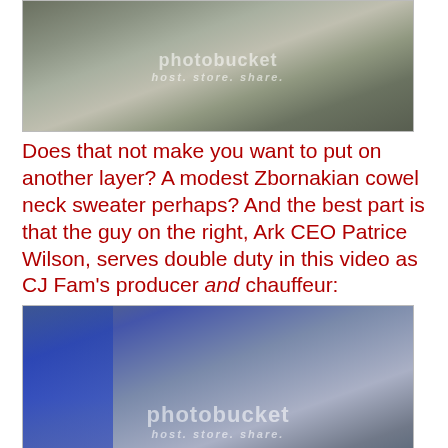[Figure (photo): Photo of two men, one in a grey patterned shirt and one in a light blue shirt, with a Photobucket watermark overlay]
Does that not make you want to put on another layer? A modest Zbornakian cowel neck sweater perhaps? And the best part is that the guy on the right, Ark CEO Patrice Wilson, serves double duty in this video as CJ Fam's producer and chauffeur:
[Figure (photo): Photo of a man in a grey coat and flat cap hat, smiling, with a woman in blue on the left and a car in the background, with a Photobucket watermark overlay]
So let me get this straight, Ark: you could find 35 kids to cross their eyes, pretend they're meeting Miley Cyrus and